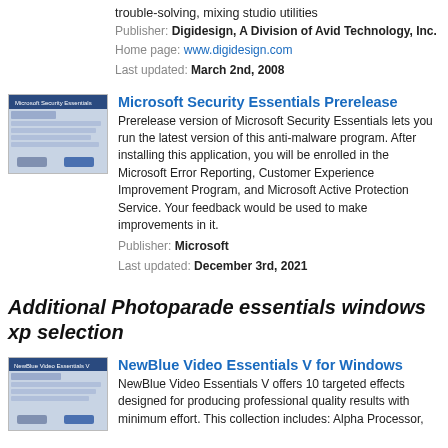trouble-solving, mixing studio utilities
Publisher: Digidesign, A Division of Avid Technology, Inc.
Home page: www.digidesign.com
Last updated: March 2nd, 2008
[Figure (screenshot): Screenshot thumbnail of Microsoft Security Essentials Prerelease application]
Microsoft Security Essentials Prerelease
Prerelease version of Microsoft Security Essentials lets you run the latest version of this anti-malware program. After installing this application, you will be enrolled in the Microsoft Error Reporting, Customer Experience Improvement Program, and Microsoft Active Protection Service. Your feedback would be used to make improvements in it.
Publisher: Microsoft
Last updated: December 3rd, 2021
Additional Photoparade essentials windows xp selection
[Figure (screenshot): Screenshot thumbnail of NewBlue Video Essentials V for Windows application]
NewBlue Video Essentials V for Windows
NewBlue Video Essentials V offers 10 targeted effects designed for producing professional quality results with minimum effort. This collection includes: Alpha Processor,